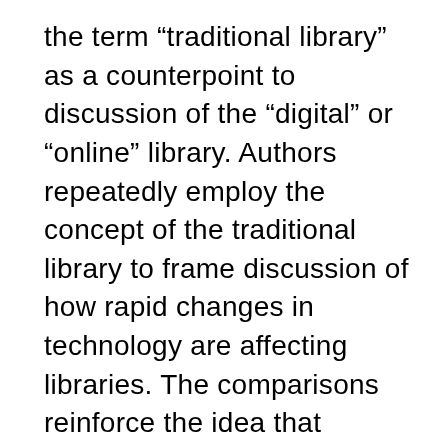the term “traditional library” as a counterpoint to discussion of the “digital” or “online” library. Authors repeatedly employ the concept of the traditional library to frame discussion of how rapid changes in technology are affecting libraries. The comparisons reinforce the idea that traditional means print. David Lee King (2007), for one, crafted a Library 2.0 spectrum in which “[o]n the left-hand side of the spectrum are the Luddites. These are very traditional libraries and librarians who really don’t understand the need to change and/or adapt to emerging trends.” Or consider Diane Kresh’s statement in The Whole Digital Library Handbook: “While traditional libraries are limited by storage